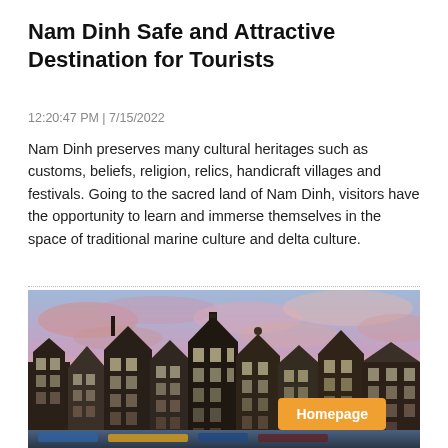Nam Dinh Safe and Attractive Destination for Tourists
12:20:47 PM | 7/15/2022
Nam Dinh preserves many cultural heritages such as customs, beliefs, religion, relics, handicraft villages and festivals. Going to the sacred land of Nam Dinh, visitors have the opportunity to learn and immerse themselves in the space of traditional marine culture and delta culture.
[Figure (photo): Photo of European-style canal houses (Amsterdam-style architecture) with a colorful pink and orange sunset sky in the background.]
Homepage